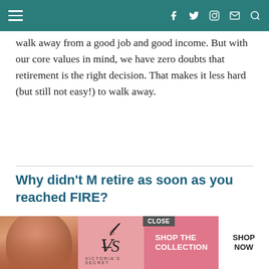Navigation bar with hamburger menu, social icons (Facebook, Twitter, Instagram, Email, Search)
walk away from a good job and good income. But with our core values in mind, we have zero doubts that retirement is the right decision. That makes it less hard (but still not easy!) to walk away.
Why didn't M retire as soon as you reached FIRE?
As mentioned, we hit our FIRE number in May. So, why is M retiring six months after that? Well, as mentioned, one reason was that he wasn't sure if he wanted…
[Figure (advertisement): Victoria's Secret advertisement banner with model photo, VS logo, 'SHOP THE COLLECTION' text, and 'SHOP NOW' button. Has a CLOSE button overlay.]